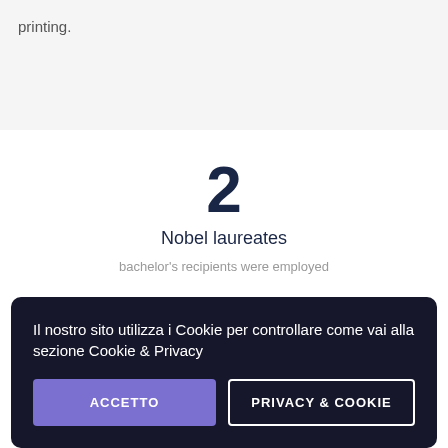printing.
2
Nobel laureates
bachelor's recipients were employed
Il nostro sito utilizza i Cookie per controllare come vai alla sezione Cookie & Privacy
ACCETTO
PRIVACY & COOKIE